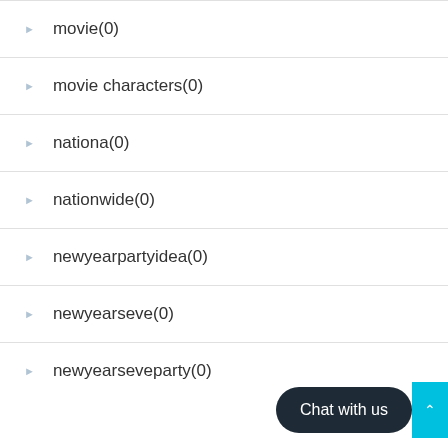movie(0)
movie characters(0)
nationa(0)
nationwide(0)
newyearpartyidea(0)
newyearseve(0)
newyearseveparty(0)